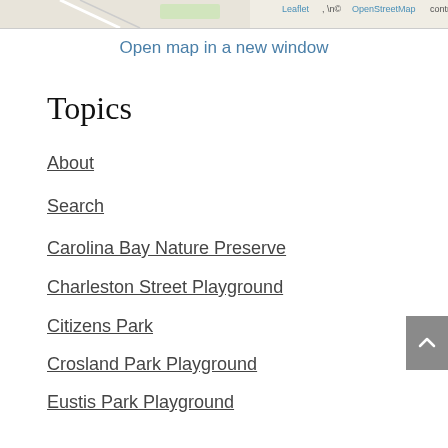[Figure (map): Top strip of a map screenshot with OpenStreetMap attribution]
Open map in a new window
Topics
About
Search
Carolina Bay Nature Preserve
Charleston Street Playground
Citizens Park
Crosland Park Playground
Eustis Park Playground
Generations Park
Gyles Park